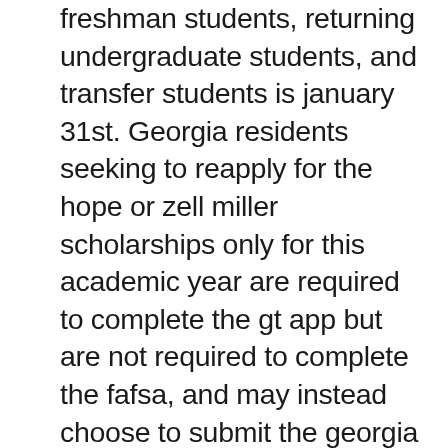freshman students, returning undergraduate students, and transfer students is january 31st. Georgia residents seeking to reapply for the hope or zell miller scholarships only for this academic year are required to complete the gt app but are not required to complete the fafsa, and may instead choose to submit the georgia student finance application (gsfapps) in lieu of completing the fafsa.